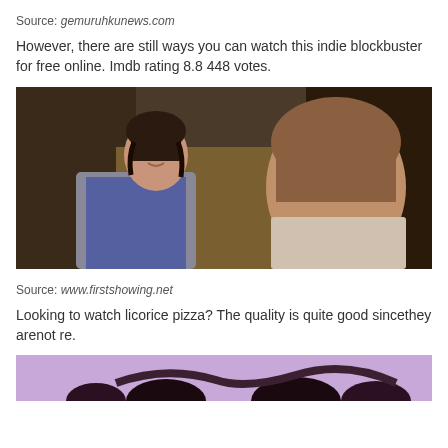Source: gemuruhkunews.com
However, there are still ways you can watch this indie blockbuster for free online. Imdb rating 8.8 448 votes.
[Figure (photo): Movie still showing a young woman with braided hair in a gray and blue outfit facing a child with short brown hair seen from behind, in a dimly lit indoor setting]
Source: www.firstshowing.net
Looking to watch licorice pizza? The quality is quite good sincethey arenot re.
[Figure (photo): Partially visible image with purple/lavender background and dark figures at the bottom of the page]